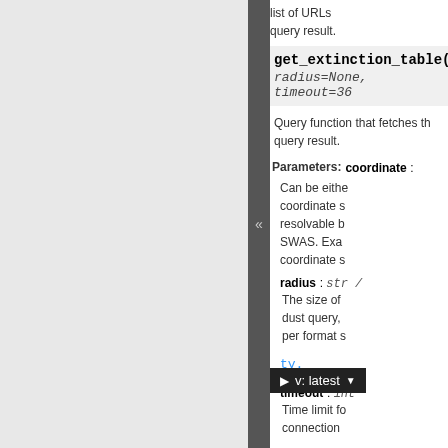list of URLs query result.
get_extinction_table(
radius=None, timeout=36
Query function that fetches th... query result.
Parameters: coordinate : Can be eithe coordinate s resolvable b SWAS. Exa coordinate s
radius : str / The size of dust query, per format s
timeout : int Time limit fo connection